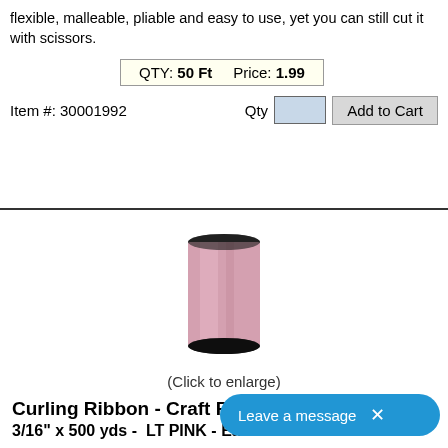flexible, malleable, pliable and easy to use, yet you can still cut it with scissors.
QTY: 50 Ft   Price: 1.99
Item #: 30001992
[Figure (photo): Spool of light pink curling ribbon]
(Click to enlarge)
Curling Ribbon - Craft Ribbon
3/16" x 500 yds -  LT PINK - Each
Light pink curling ribbon is the perfect craft ribbon to use as balloon string and wrapping ribbon for parties and holiday decor. You can add a festive touch to presents, wreaths, hair clips/ties, party favor bags, scrapbooks, and so much more! Mix and match with a variety of other colors to create unique themed bows, princess wands, garlands, etc. Simp straight edge across the crimped poly ribbon to form tight ringlets